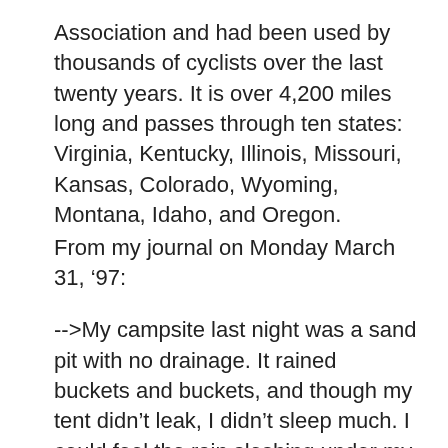Association and had been used by thousands of cyclists over the last twenty years. It is over 4,200 miles long and passes through ten states: Virginia, Kentucky, Illinois, Missouri, Kansas, Colorado, Wyoming, Montana, Idaho, and Oregon.
From my journal on Monday March 31, ‘97:
-->My campsite last night was a sand pit with no drainage. It rained buckets and buckets, and though my tent didn’t leak, I didn’t sleep much. I could feel the rain sloshing under my nylon floor and I worried that the tarp might have blown off my bike which was leaning against a nearby picnic table. As soon as the sun rose, I left, pedaling my trusty gray Panasonic out into the hazy Virginia morning. But as the sun continued to rise, the wind began to blow, hard and fast and right in my face. In fact, every time I changed direction it seemed as though the wind always turned too, trying to push me